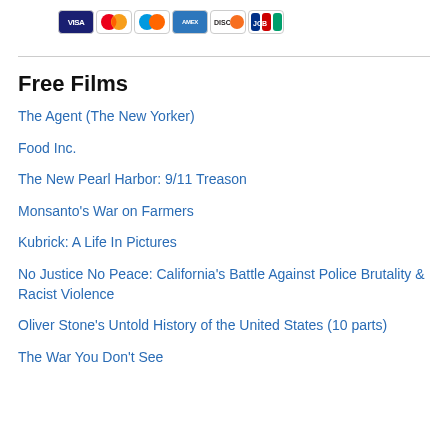[Figure (other): Row of credit card logos: Visa, Mastercard (red/yellow), Mastercard (blue/orange), American Express, Discover, JCB]
Free Films
The Agent (The New Yorker)
Food Inc.
The New Pearl Harbor: 9/11 Treason
Monsanto's War on Farmers
Kubrick: A Life In Pictures
No Justice No Peace: California's Battle Against Police Brutality & Racist Violence
Oliver Stone's Untold History of the United States (10 parts)
The War You Don't See